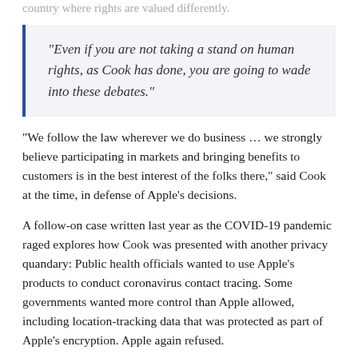country where rights are valued differently.
"Even if you are not taking a stand on human rights, as Cook has done, you are going to wade into these debates."
"We follow the law wherever we do business … we strongly believe participating in markets and bringing benefits to customers is in the best interest of the folks there," said Cook at the time, in defense of Apple's decisions.
A follow-on case written last year as the COVID-19 pandemic raged explores how Cook was presented with another privacy quandary: Public health officials wanted to use Apple's products to conduct coronavirus contact tracing. Some governments wanted more control than Apple allowed, including location-tracking data that was protected as part of Apple's encryption. Apple again refused.
In France, where the government had petitioned Apple to exempt contact tracing from the phones' typical privacy protections, Digital